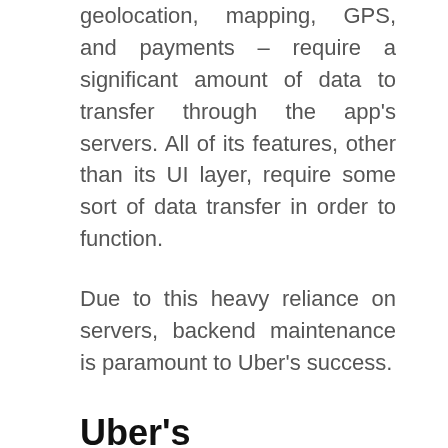geolocation, mapping, GPS, and payments – require a significant amount of data to transfer through the app's servers. All of its features, other than its UI layer, require some sort of data transfer in order to function.
Due to this heavy reliance on servers, backend maintenance is paramount to Uber's success.
Uber's maintenance and updating costs
The costs of maintaining and updating an